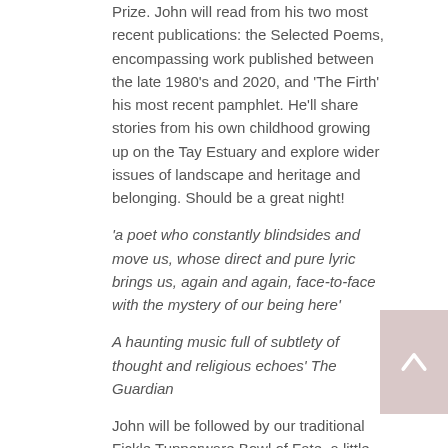Prize. John will read from his two most recent publications: the Selected Poems, encompassing work published between the late 1980's and 2020, and 'The Firth' his most recent pamphlet. He'll share stories from his own childhood growing up on the Tay Estuary and explore wider issues of landscape and heritage and belonging. Should be a great night!
'a poet who constantly blindsides and move us, whose direct and pure lyric brings us, again and again, face-to-face with the mystery of our being here'
A haunting music full of subtlety of thought and religious echoes' The Guardian
John will be followed by our traditional Fickle Tupperware Bowl of Fate, a little less fickle than usual featuring the first 10 poets who apply to read.  If you would like to join our audience, or be one our open mic readers let me know soonest on chrys@chryssalt.com. ; We will send you the relevant link nearer the time.
We look forward to seeing you on March 6th for another